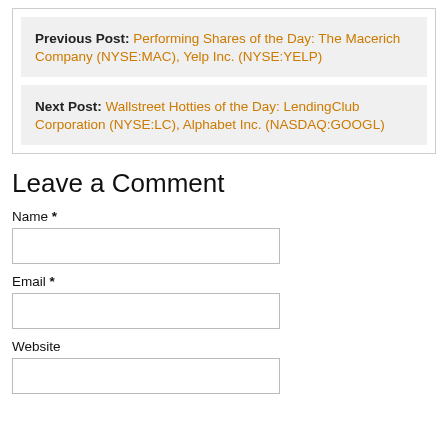Previous Post: Performing Shares of the Day: The Macerich Company (NYSE:MAC), Yelp Inc. (NYSE:YELP)
Next Post: Wallstreet Hotties of the Day: LendingClub Corporation (NYSE:LC), Alphabet Inc. (NASDAQ:GOOGL)
Leave a Comment
Name *
Email *
Website